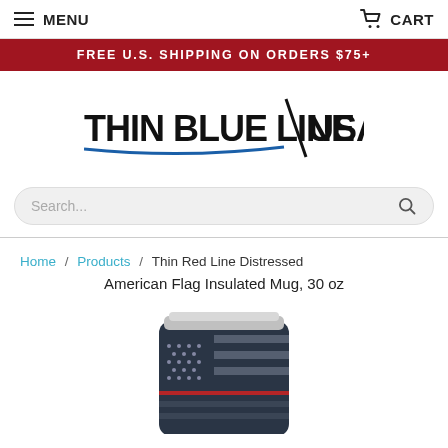MENU   CART
FREE U.S. SHIPPING ON ORDERS $75+
[Figure (logo): Thin Blue Line USA logo with bold black text and blue underline accent, diagonal slash between THIN BLUE LINE and USA]
Search...
Home / Products / Thin Red Line Distressed American Flag Insulated Mug, 30 oz
[Figure (photo): Dark navy insulated tumbler mug with distressed American flag design featuring a thin red line, silver lid visible at top, partially cropped at bottom of page]